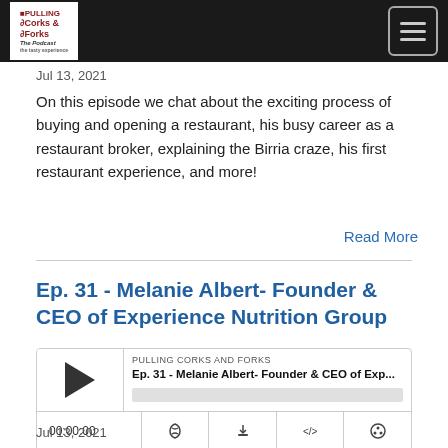[Figure (logo): Pulling Corks & Forks podcast logo with white background on dark header bar, with hamburger menu button on right]
Jul 13, 2021
On this episode we chat about the exciting process of buying and opening a restaurant, his busy career as a restaurant broker, explaining the Birria craze, his first restaurant experience, and more!
Read More
Ep. 31 - Melanie Albert- Founder & CEO of Experience Nutrition Group
[Figure (screenshot): Podcast player widget showing PULLING CORKS AND FORKS label, episode title Ep. 31 - Melanie Albert- Founder & CEO of Exp..., play button, progress bar, time 00:00:00, and control icons for RSS, download, embed, and settings]
Jul 13, 2021